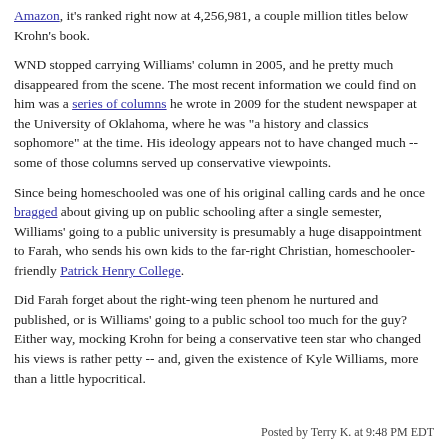Amazon, it's ranked right now at 4,256,981, a couple million titles below Krohn's book.
WND stopped carrying Williams' column in 2005, and he pretty much disappeared from the scene. The most recent information we could find on him was a series of columns he wrote in 2009 for the student newspaper at the University of Oklahoma, where he was "a history and classics sophomore" at the time. His ideology appears not to have changed much -- some of those columns served up conservative viewpoints.
Since being homeschooled was one of his original calling cards and he once bragged about giving up on public schooling after a single semester, Williams' going to a public university is presumably a huge disappointment to Farah, who sends his own kids to the far-right Christian, homeschooler-friendly Patrick Henry College.
Did Farah forget about the right-wing teen phenom he nurtured and published, or is Williams' going to a public school too much for the guy? Either way, mocking Krohn for being a conservative teen star who changed his views is rather petty -- and, given the existence of Kyle Williams, more than a little hypocritical.
Posted by Terry K. at 9:48 PM EDT